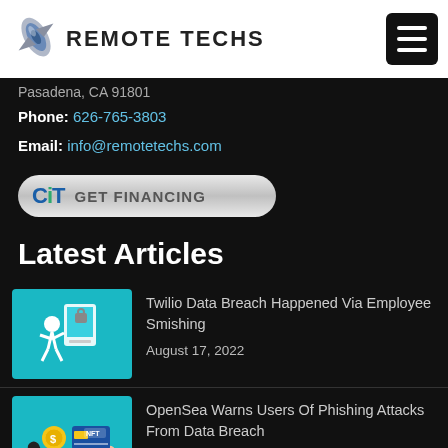[Figure (logo): Remote Techs logo with rocket/satellite icon and text REMOTE TECHS]
Pasadena, CA 91801
Phone: 626-765-3803
Email: info@remotetechs.com
[Figure (illustration): CiT GET FINANCING pill-shaped button with gradient silver background]
Latest Articles
[Figure (illustration): Teal thumbnail image of person running with devices]
Twilio Data Breach Happened Via Employee Smishing
August 17, 2022
[Figure (illustration): Teal thumbnail image of hands exchanging coin and card]
OpenSea Warns Users Of Phishing Attacks From Data Breach
August 16, 2022